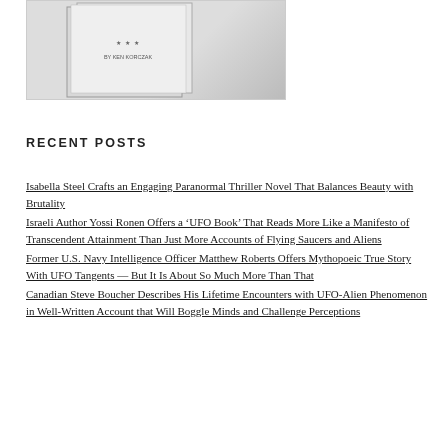[Figure (photo): Book cover image for a book by Ken Korczak, shown as a white/light colored book with text 'By Ken Korczak' visible]
RECENT POSTS
Isabella Steel Crafts an Engaging Paranormal Thriller Novel That Balances Beauty with Brutality
Israeli Author Yossi Ronen Offers a ‘UFO Book’ That Reads More Like a Manifesto of Transcendent Attainment Than Just More Accounts of Flying Saucers and Aliens
Former U.S. Navy Intelligence Officer Matthew Roberts Offers Mythopoeic True Story With UFO Tangents — But It Is About So Much More Than That
Canadian Steve Boucher Describes His Lifetime Encounters with UFO-Alien Phenomenon in Well-Written Account that Will Boggle Minds and Challenge Perceptions